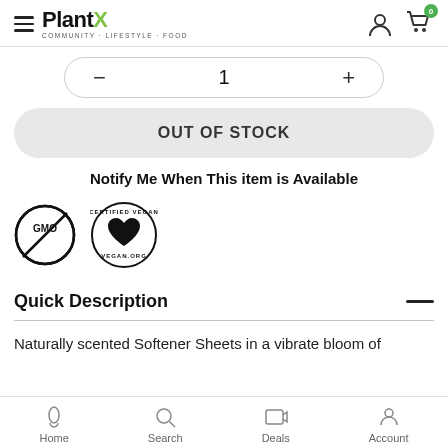PlantX — COMMUNITY · LIFESTYLE · FOOD
1
OUT OF STOCK
Notify Me When This item is Available
[Figure (logo): Non-GMO badge circular logo with strikethrough and GMO text]
[Figure (logo): Certified Vegan badge with heart logo and VEGAN.ORG text]
Quick Description
Naturally scented Softener Sheets in a vibrate bloom of
Home  Search  Deals  Account